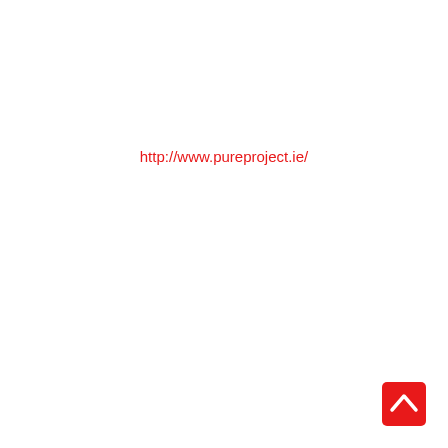http://www.pureproject.ie/
[Figure (other): Red rounded square button with a white upward-pointing chevron arrow (back-to-top button)]